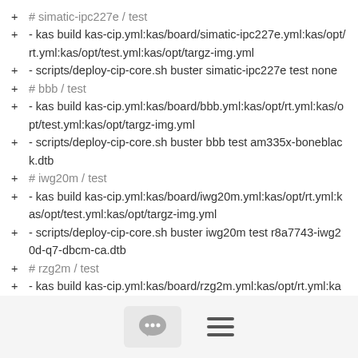+ # simatic-ipc227e / test
+ - kas build kas-cip.yml:kas/board/simatic-ipc227e.yml:kas/opt/rt.yml:kas/opt/test.yml:kas/opt/targz-img.yml
+ - scripts/deploy-cip-core.sh buster simatic-ipc227e test none
+ # bbb / test
+ - kas build kas-cip.yml:kas/board/bbb.yml:kas/opt/rt.yml:kas/opt/test.yml:kas/opt/targz-img.yml
+ - scripts/deploy-cip-core.sh buster bbb test am335x-boneblack.dtb
+ # iwg20m / test
+ - kas build kas-cip.yml:kas/board/iwg20m.yml:kas/opt/rt.yml:kas/opt/test.yml:kas/opt/targz-img.yml
+ - scripts/deploy-cip-core.sh buster iwg20m test r8a7743-iwg20d-q7-dbcm-ca.dtb
+ # rzg2m / test
+ - kas build kas-cip.yml:kas/board/rzg2m.yml:kas/opt/rt.yml:kas/opt/test.yml:kas/o
[Figure (other): Footer bar with chat bubble icon and hamburger menu icon]